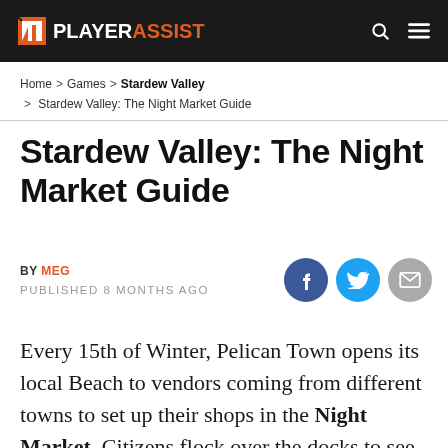PLAYERASSIST
Home > Games > Stardew Valley > Stardew Valley: The Night Market Guide
Stardew Valley: The Night Market Guide
BY MEG
PUBLISHED 8 MONTHS AGO
Every 15th of Winter, Pelican Town opens its local Beach to vendors coming from different towns to set up their shops in the Night Market. Citizens flock over the docks to see all the festival's shops and attractions, and there's a good reason why everyone is